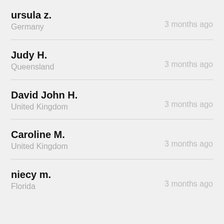ursula z. | Germany | 3 months ago
Judy H. | Queensland | 3 months ago
David John H. | United Kingdom | 3 months ago
Caroline M. | United Kingdom | 3 months ago
niecy m. | Florida | 3 months ago